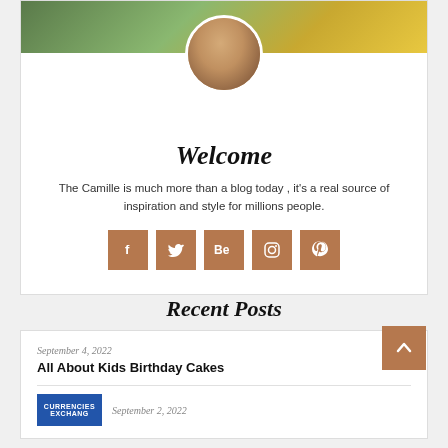[Figure (photo): Circular avatar photo of a woman with long blonde hair, with a banner background behind]
Welcome
The Camille is much more than a blog today , it's a real source of inspiration and style for millions people.
[Figure (infographic): Row of 5 social media icon buttons (Facebook, Twitter, Behance, Instagram, Pinterest) in brown/copper color]
Recent Posts
September 4, 2022
All About Kids Birthday Cakes
[Figure (screenshot): Small thumbnail image with blue background showing text CURRENCIES EXCHANGE]
September 2, 2022